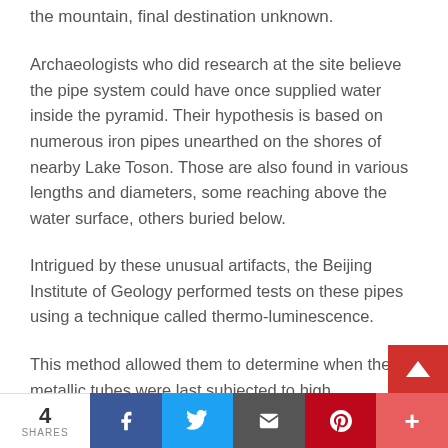the mountain, final destination unknown.
Archaeologists who did research at the site believe the pipe system could have once supplied water inside the pyramid. Their hypothesis is based on numerous iron pipes unearthed on the shores of nearby Lake Toson. Those are also found in various lengths and diameters, some reaching above the water surface, others buried below.
Intrigued by these unusual artifacts, the Beijing Institute of Geology performed tests on these pipes using a technique called thermo-luminescence.
This method allowed them to determine when the metallic tubes were last subjected to high temperatures. Results yielded staggering results – the pipes must have been crafted more 150,000 years ago, and the mystery
4 SHARES  [Facebook] [Twitter] [Email] [Pinterest] [More]